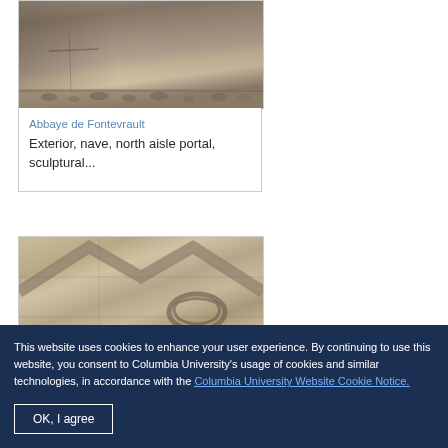[Figure (photo): Stone architectural detail, close-up of exterior nave sculptural element, Abbaye de Fontevrault]
Abbaye de Fontevrault
Exterior, nave, north aisle portal, sculptural...
[Figure (photo): Stone architectural detail, close-up of carved decorative element, Abbaye de Fontevrault]
This website uses cookies to enhance your user experience. By continuing to use this website, you consent to Columbia University's usage of cookies and similar technologies, in accordance with the Columbia University Website Cookie Notice.
OK, I agree